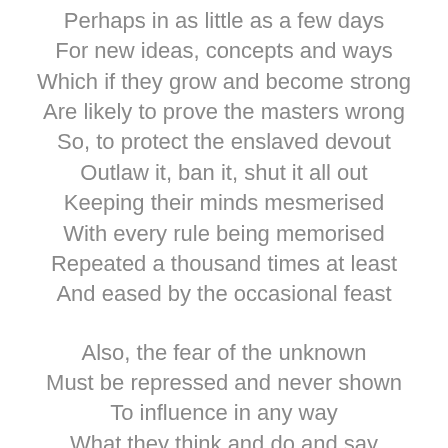Perhaps in as little as a few days
For new ideas, concepts and ways
Which if they grow and become strong
Are likely to prove the masters wrong
So, to protect the enslaved devout
Outlaw it, ban it, shut it all out
Keeping their minds mesmerised
With every rule being memorised
Repeated a thousand times at least
And eased by the occasional feast

Also, the fear of the unknown
Must be repressed and never shown
To influence in any way
What they think and do and say